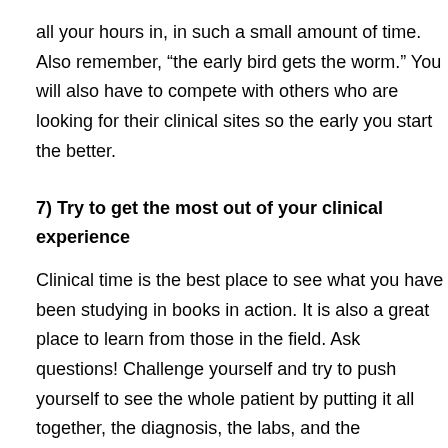all your hours in, in such a small amount of time. Also remember, “the early bird gets the worm.” You will also have to compete with others who are looking for their clinical sites so the early you start the better.
7) Try to get the most out of your clinical experience
Clinical time is the best place to see what you have been studying in books in action. It is also a great place to learn from those in the field. Ask questions! Challenge yourself and try to push yourself to see the whole patient by putting it all together, the diagnosis, the labs, and the treatments. Clinical sites are also a great place to network. You never know if they will be hiring by the time you graduate.
8) Don’t give up
I’m sure that at one point during your journey to becoming an NP, you may feel you want to give up. Everybody gets frustrated